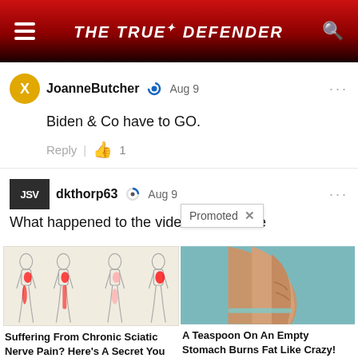THE TRUE DEFENDER
JoanneButcher  Aug 9
Biden & Co have to GO.
Reply  | 👍 1
dkthorp63  Aug 9
What happened to the video? The Bi... make
Promoted X
[Figure (illustration): Medical illustration of four human figures showing sciatic nerve pain highlighted in red along the leg]
Suffering From Chronic Sciatic Nerve Pain? Here's A Secret You Need To Know
🔥 92,320
[Figure (photo): Close-up photo of a person's torso/back side showing body fat, used in a weight loss advertisement]
A Teaspoon On An Empty Stomach Burns Fat Like Crazy!
🔥 15,024